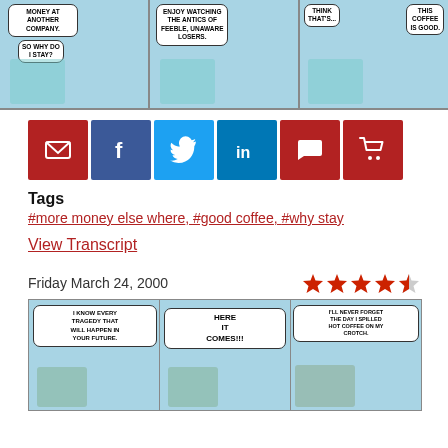[Figure (illustration): Dilbert comic strip top panel showing three comic panels with Dilbert at a desk with speech bubbles about money at another company, enjoying watching feeble unaware losers, and coffee being good.]
[Figure (infographic): Row of social sharing buttons: email (red), Facebook (dark blue), Twitter (light blue), LinkedIn (blue), comment (red), cart (red)]
Tags
#more money else where, #good coffee, #why stay
View Transcript
Friday March 24, 2000
[Figure (illustration): Star rating showing 4.5 out of 5 stars in red]
[Figure (illustration): Dilbert comic strip bottom showing three panels: character saying I know every tragedy that will happen in your future, HERE IT COMES!!!, and I'll never forget the day I spilled hot coffee on my crotch.]